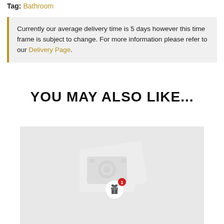Tag: Bathroom
Currently our average delivery time is 5 days however this time frame is subject to change. For more information please refer to our Delivery Page.
YOU MAY ALSO LIKE...
[Figure (photo): Product placeholder image box with a light grey background showing a faded camera/image placeholder icon and a gift notification badge overlay]